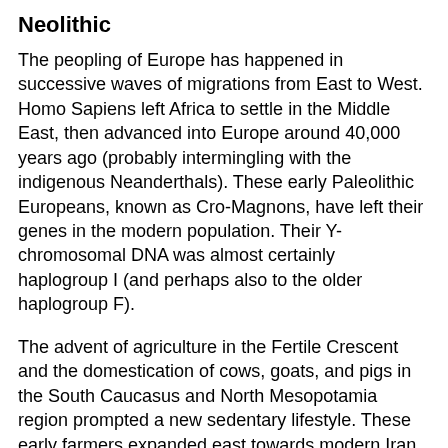Neolithic
The peopling of Europe has happened in successive waves of migrations from East to West. Homo Sapiens left Africa to settle in the Middle East, then advanced into Europe around 40,000 years ago (probably intermingling with the indigenous Neanderthals). These early Paleolithic Europeans, known as Cro-Magnons, have left their genes in the modern population. Their Y-chromosomal DNA was almost certainly haplogroup I (and perhaps also to the older haplogroup F).
The advent of agriculture in the Fertile Crescent and the domestication of cows, goats, and pigs in the South Caucasus and North Mesopotamia region prompted a new sedentary lifestyle. These early farmers expanded east towards modern Iran and Afghanistan, and west towards Europe. Based on the current knowledge, notably the recent ancient DNA tests from Neolithic France and Germany, it seems that at least two distinct groups of people left the Middle East for Europe.
The first wave of agriculturalists most likely originated in the Caucasus region and made its way through Anatolia, northern Greece, then expanded north along to Danube basin, and south along the coasts of Italy, Sardinia, North